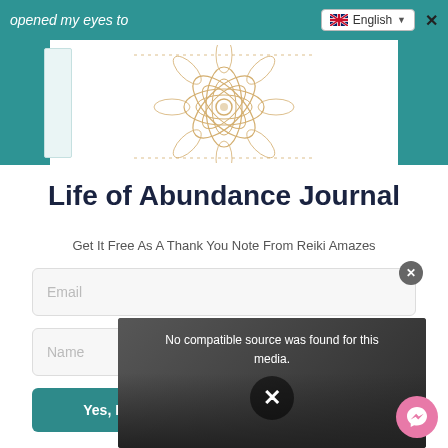opened my eyes to
[Figure (screenshot): Website popup modal showing a Life of Abundance Journal offer with mandala image, email/name form fields, and a video overlay with error message 'No compatible source was found for this media.']
Life of Abundance Journal
Get It Free As A Thank You Note From Reiki Amazes
Email
Name
Yes, I...
No compatible source was found for this media.